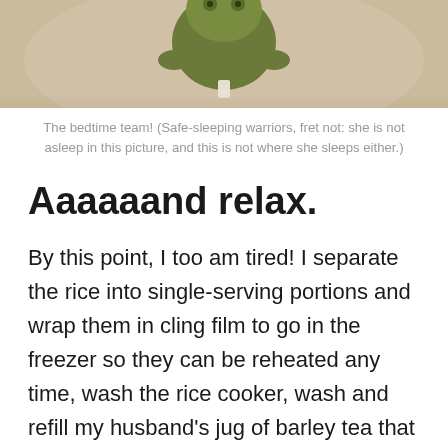[Figure (photo): Top portion of a photo showing a stuffed animal (green/olive colored) on a light beige/cream surface, cropped at the top of the page]
The bedtime team! (Safe-sleeping warriors, fret not: she is not asleep in this picture, and this is not where she sleeps either.)
Aaaaaand relax.
By this point, I too am tired! I separate the rice into single-serving portions and wrap them in cling film to go in the freezer so they can be reheated any time, wash the rice cooker, wash and refill my husband's jug of barley tea that lives in the fridge, tidy up downstairs (peeling stickers off random pieces of furniture…)